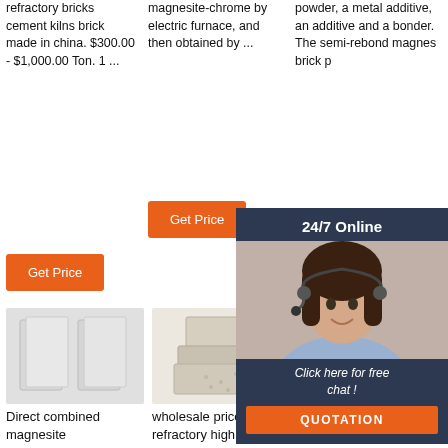refractory bricks cement kilns brick made in china. $300.00 - $1,000.00 Ton. 1 ...
magnesite-chrome by electric furnace, and then obtained by ...
powder, a metal additive, an additive and a bonder. The semi-rebond magnes brick p
[Figure (screenshot): Orange Get Price button under column 1 text]
[Figure (screenshot): Orange Get Price button under column 2 text]
[Figure (screenshot): Orange Get button under column 3 text (partially hidden by overlay)]
[Figure (photo): Two white/light grey rectangular refractory bricks standing upright]
[Figure (photo): Stack of beige/textured refractory bricks]
[Figure (photo): Brown industrial refractory brick]
Direct combined magnesite
wholesale price refractory high
High-quality Raw Pure Industrial-use
[Figure (infographic): 24/7 Online chat overlay with agent photo, 'Click here for free chat!' text, and QUOTATION orange button]
[Figure (logo): TOP logo with orange dots in triangle arrangement and orange TOP text]